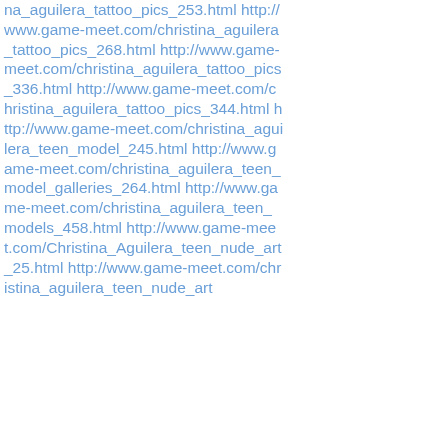na_aguilera_tattoo_pics_253.html http://www.game-meet.com/christina_aguilera_tattoo_pics_268.html http://www.game-meet.com/christina_aguilera_tattoo_pics_336.html http://www.game-meet.com/christina_aguilera_tattoo_pics_344.html http://www.game-meet.com/christina_aguilera_teen_model_245.html http://www.game-meet.com/christina_aguilera_teen_model_galleries_264.html http://www.game-meet.com/christina_aguilera_teen_models_458.html http://www.game-meet.com/Christina_Aguilera_teen_nude_art_25.html http://www.game-meet.com/christina_aguilera_teen_nude_art